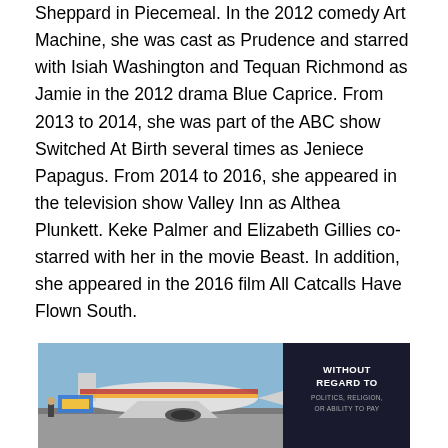Sheppard in Piecemeal. In the 2012 comedy Art Machine, she was cast as Prudence and starred with Isiah Washington and Tequan Richmond as Jamie in the 2012 drama Blue Caprice. From 2013 to 2014, she was part of the ABC show Switched At Birth several times as Jeniece Papagus. From 2014 to 2016, she appeared in the television show Valley Inn as Althea Plunkett. Keke Palmer and Elizabeth Gillies co-starred with her in the movie Beast. In addition, she appeared in the 2016 film All Catcalls Have Flown South.
[Figure (photo): Advertisement banner showing an airplane being loaded with cargo at an airport, with a dark panel on the right reading 'WITHOUT REGARD TO POLITICS, RELIGION, OR ABILITY TO PAY']